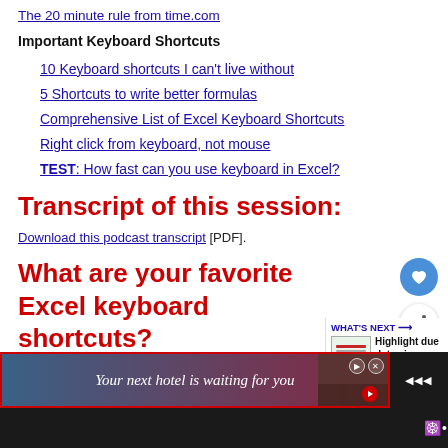The 20 minute rule from time.com
Important Keyboard Shortcuts
10 Keyboard shortcuts I can't live without
5 Shortcuts to write better formulas
Comprehensive List of Excel Keyboard Shortcuts
Right click from keyboard, not mouse
TEST: How fast can you use keyboard in Excel?
Transcript of this session:
Download this podcast transcript [PDF].
What are your favorite Excel keyboard shortcuts?
Go ahead and tell us in comments. I am hoping to learn a few more
[Figure (screenshot): Advertisement banner: 'Your next hotel is waiting for you']
[Figure (infographic): WHAT'S NEXT sidebar showing 'Highlight due dates in Exc...' with thumbnail]
[Figure (infographic): Heart/favorite button (blue circle) and share button (white circle)]